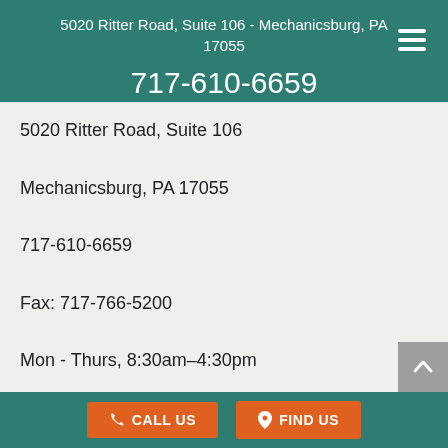5020 Ritter Road, Suite 106 - Mechanicsburg, PA 17055
717-610-6659
5020 Ritter Road, Suite 106
Mechanicsburg, PA 17055
717-610-6659
Fax: 717-766-5200
Mon - Thurs, 8:30am–4:30pm
Friday, 8:30am-12:00pm
GET DIRECTIONS
Affiliations
CALL US   FIND US